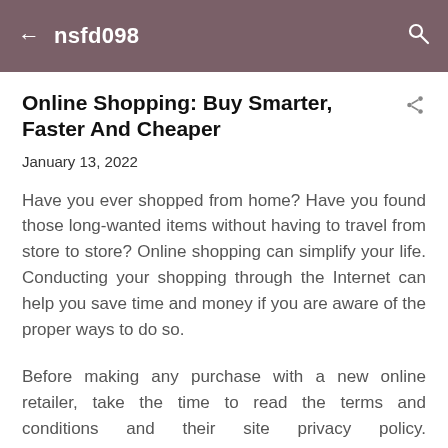nsfd098
Online Shopping: Buy Smarter, Faster And Cheaper
January 13, 2022
Have you ever shopped from home? Have you found those long-wanted items without having to travel from store to store? Online shopping can simplify your life. Conducting your shopping through the Internet can help you save time and money if you are aware of the proper ways to do so.
Before making any purchase with a new online retailer, take the time to read the terms and conditions and their site privacy policy. https://www.grayandsons.com/ This will have the information on how the company collects, what's